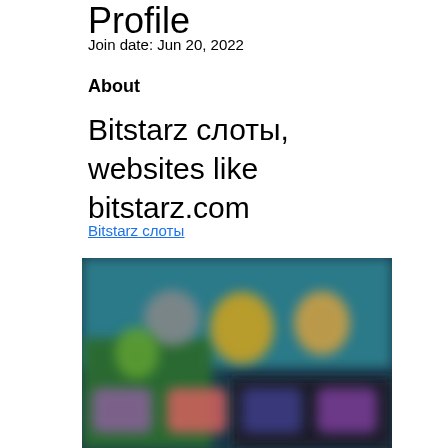Profile
Join date: Jun 20, 2022
About
Bitstarz слоты, websites like bitstarz.com
Bitstarz слоты
[Figure (screenshot): Blurred screenshot of a gaming website showing colorful game thumbnails and characters on a dark background]